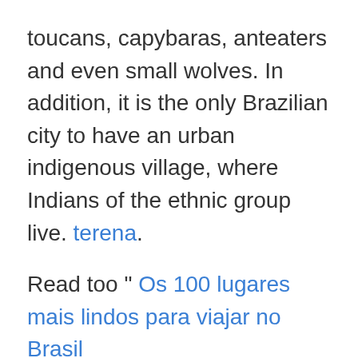toucans, capybaras, anteaters and even small wolves. In addition, it is the only Brazilian city to have an urban indigenous village, where Indians of the ethnic group live. terena.
Read too " Os 100 lugares mais lindos para viajar no Brasil
Multicultural and with great biodiversity, Campo Grande is undoubtedly an impressive place to visit and you can't leave it out of your travel plans. Want to know more? So, continue reading this post and find out which are the 13 must-see attractions in the capital of Mato